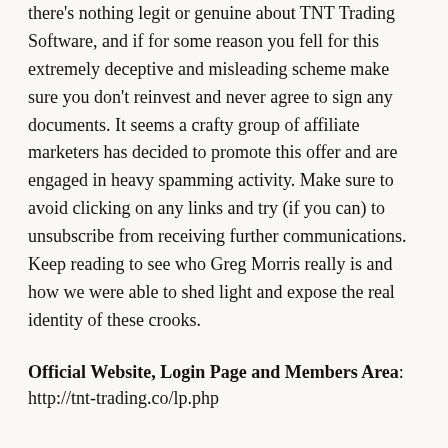there's nothing legit or genuine about TNT Trading Software, and if for some reason you fell for this extremely deceptive and misleading scheme make sure you don't reinvest and never agree to sign any documents. It seems a crafty group of affiliate marketers has decided to promote this offer and are engaged in heavy spamming activity. Make sure to avoid clicking on any links and try (if you can) to unsubscribe from receiving further communications. Keep reading to see who Greg Morris really is and how we were able to shed light and expose the real identity of these crooks.
Official Website, Login Page and Members Area: http://tnt-trading.co/lp.php